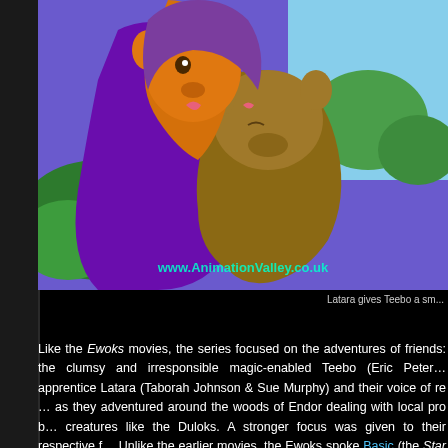[Figure (illustration): Animated cartoon screenshot showing two Ewok characters, one apparently giving the other a kiss. Watermark reads www.AnimationValley.co.uk]
Latara gives Teebo a sm...
Like the Ewoks movies, the series focused on the adventures of... friends: the clumsy and irresponsible magic-enabled Teebo (Eric Pete... apprentice Latara (Taborah Johnson & Sue Murphy) and their voice of re... as they adventured around the woods of Endor dealing with local prob... creatures like the Duloks. A stronger focus was given to their respective f... Unlike the earlier movies, the Ewoks spoke Basic (the Star Wars term fo... make them more understandable to younger audiences.